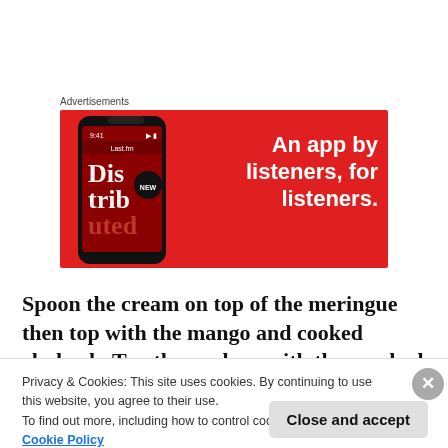Advertisements
[Figure (illustration): Red advertisement banner for a music/podcast app showing a smartphone with 'Disturbed' album art on screen and white bold text reading 'An app by listeners, for listeners.']
Spoon the cream on top of the meringue then top with the mango and cooked rhubarb. Top the pavlova with the crushed pistachios and enjoy.
Privacy & Cookies: This site uses cookies. By continuing to use this website, you agree to their use.
To find out more, including how to control cookies, see here: Cookie Policy
Close and accept